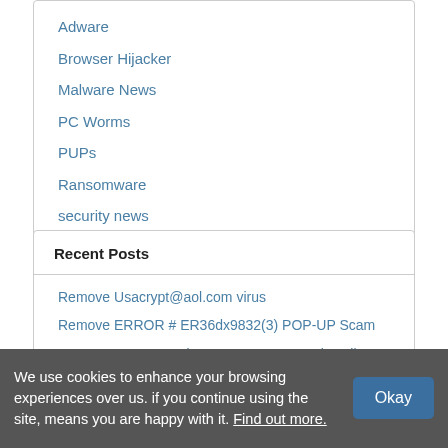Adware
Browser Hijacker
Malware News
PC Worms
PUPs
Ransomware
security news
Trojans
Viruses
Recent Posts
Remove Usacrypt@aol.com virus
Remove ERROR # ER36dx9832(3) POP-UP Scam
Remove Laturo Stealer: Easy Steps To Uninstall
Remove Application.Adware.NewDotNet.D: Effective Guide To Delete
We use cookies to enhance your browsing experiences over us. if you continue using the site, means you are happy with it. Find out more.